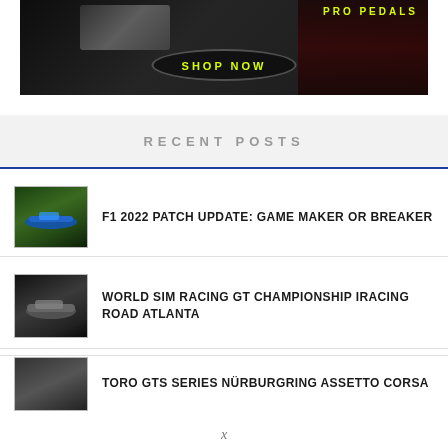[Figure (photo): Dark banner advertisement showing racing pedals and F1 cars with 'PRO PEDALS' text and 'SHOP NOW' button in yellow on dark background]
RECENT POSTS
[Figure (photo): Thumbnail of F1 racing car on green track]
F1 2022 PATCH UPDATE: GAME MAKER OR BREAKER
[Figure (photo): Thumbnail of GT racing car on dark track]
WORLD SIM RACING GT CHAMPIONSHIP IRACING ROAD ATLANTA
[Figure (photo): Thumbnail of racing car partially visible]
TORO GTS SERIES NÜRBURGRING ASSETTO CORSA